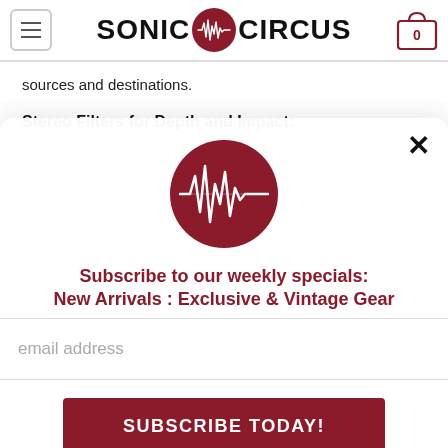SONIC CIRCUS
sources and destinations.
Stereo Filters for Depth and Impact:
[Figure (logo): Sonic Circus dark red circle logo with waveform graphic]
Subscribe to our weekly specials:
New Arrivals : Exclusive & Vintage Gear
email address
SUBSCRIBE TODAY!